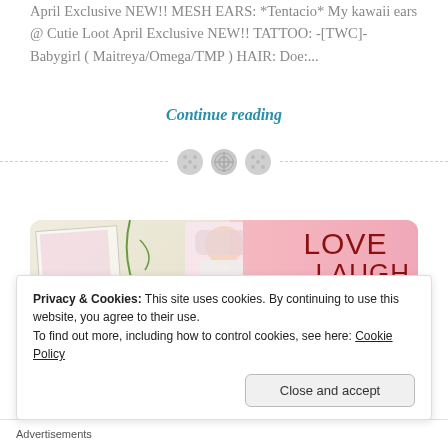April Exclusive NEW!! MESH EARS: *Tentacio* My kawaii ears @ Cutie Loot April Exclusive NEW!! TATTOO: -[TWC]- Babygirl ( Maitreya/Omega/TMP ) HAIR: Doe:...
Continue reading
[Figure (photo): Blog post image showing a virtual world scene with a Barbie-like doll figure, decorative items, and text reading LOVE LAUGH LIVE DREAM on a pink background]
Privacy & Cookies: This site uses cookies. By continuing to use this website, you agree to their use.
To find out more, including how to control cookies, see here: Cookie Policy
Close and accept
Advertisements